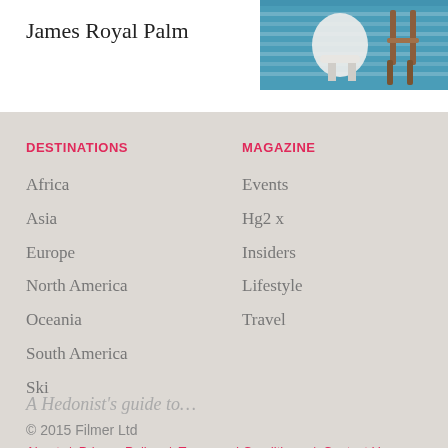James Royal Palm
[Figure (photo): Interior photo showing a teal/blue rug with white wicker chair and wooden chair on a colorful floor]
DESTINATIONS
MAGAZINE
Africa
Asia
Europe
North America
Oceania
South America
Ski
Events
Hg2 x
Insiders
Lifestyle
Travel
A Hedonist's guide to…
© 2015 Filmer Ltd
About / Privacy Policy / Terms and Conditions / Contact Us